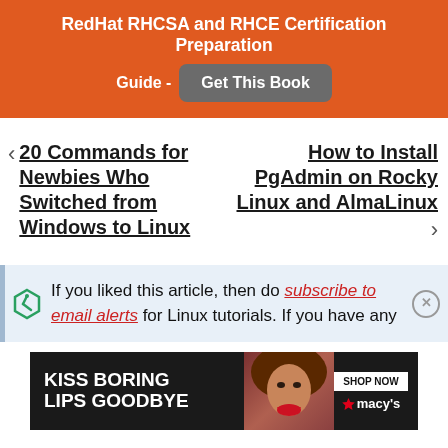RedHat RHCSA and RHCE Certification Preparation Guide - Get This Book
< 20 Commands for Newbies Who Switched from Windows to Linux
How to Install PgAdmin on Rocky Linux and AlmaLinux >
If you liked this article, then do subscribe to email alerts for Linux tutorials. If you have any
[Figure (other): Macy's advertisement banner: KISS BORING LIPS GOODBYE with a woman's face and SHOP NOW button, macy's logo]
KISS BORING LIPS GOODBYE - SHOP NOW - macy's